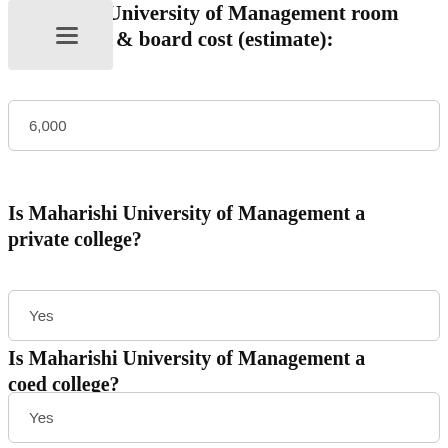Maharishi University of Management room & board cost (estimate):
6,000
Is Maharishi University of Management a private college?
Yes
Is Maharishi University of Management a coed college?
Yes